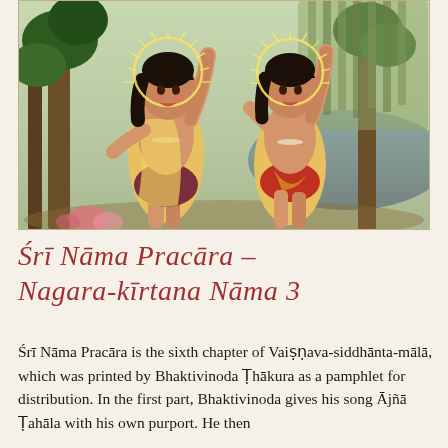[Figure (illustration): Traditional Indian religious painting showing two young male figures with halos raised arms upward in devotion, wearing traditional garments and bead necklaces, set against a background of trees and water.]
Śrī Nāma Pracāra – Nagara-kīrtana Nāma 3
Śrī Nāma Pracāra is the sixth chapter of Vaiṣṇava-siddhānta-mālā, which was printed by Bhaktivinoda Ṭhākura as a pamphlet for distribution. In the first part, Bhaktivinoda gives his song Ājñā Ṭahāla with his own purport. He then